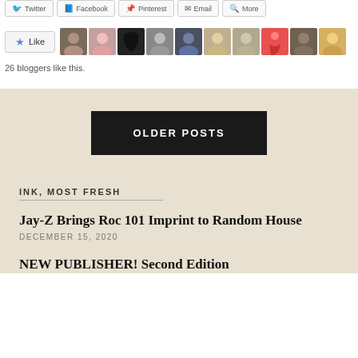[Figure (screenshot): Share buttons row: Twitter, Facebook, Pinterest, Email, More]
[Figure (screenshot): Like button with star icon and 10 blogger avatar thumbnails]
26 bloggers like this.
OLDER POSTS
INK, MOST FRESH
Jay-Z Brings Roc 101 Imprint to Random House
DECEMBER 15, 2020
NEW PUBLISHER! Second Edition